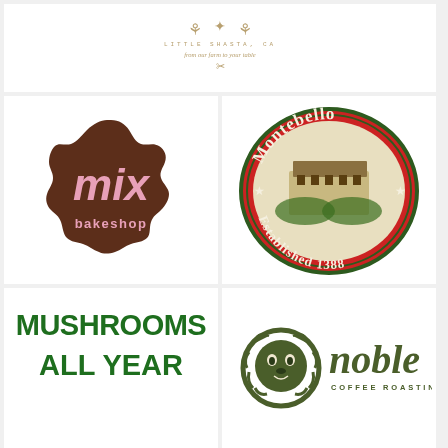[Figure (logo): Little Shasta CA farm-to-table logo with decorative farm icons, location text 'LITTLE SHASTA, CA', tagline 'from our farm to your table', and scissors icon]
[Figure (logo): Mix Bakeshop logo: brown scalloped circle shape with pink text 'mix' in bold retro font and 'bakeshop' below in brown]
[Figure (logo): Montebello Established 1388 logo: red oval badge with dark green border, cream text 'Montebello' and 'Established 1388', stars on sides, vintage building illustration in center]
[Figure (logo): Mushrooms All Year text logo in dark green bold block uppercase letters]
[Figure (logo): Noble Coffee Roasting logo: olive-green lion head icon with text 'noble' in large dark olive serif italic and 'COFFEE ROASTING' in small caps below]